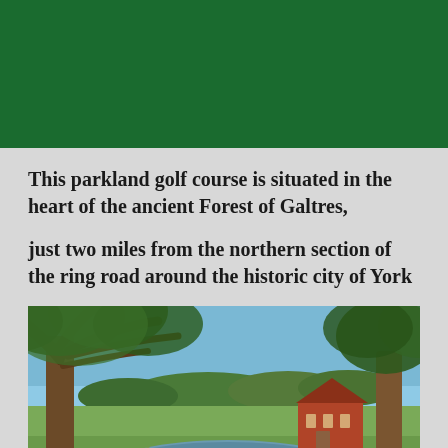[Figure (other): Dark green header banner at the top of the page]
This parkland golf course is situated in the heart of the ancient Forest of Galtres,
just two miles from the northern section of the ring road around the historic city of York
[Figure (photo): Photograph of a parkland golf course showing a large ancient oak tree on the left, another tree on the right, a pond in the foreground with reeds, green fairway grass, and a red brick clubhouse building in the background under a blue sky.]